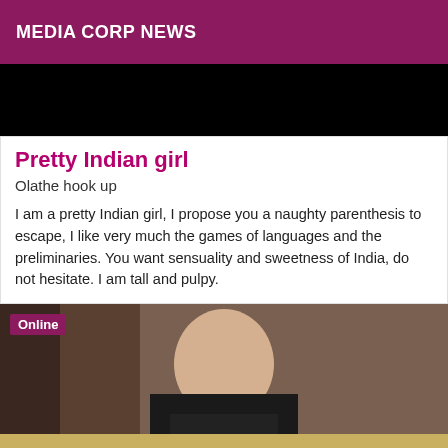MEDIA CORP NEWS
[Figure (photo): Black image area at top of content]
Pretty Indian girl
Olathe hook up
I am a pretty Indian girl, I propose you a naughty parenthesis to escape, I like very much the games of languages and the preliminaries. You want sensuality and sweetness of India, do not hesitate. I am tall and pulpy.
[Figure (photo): Photo of a woman in a black dress, with an Online badge in the top left corner]